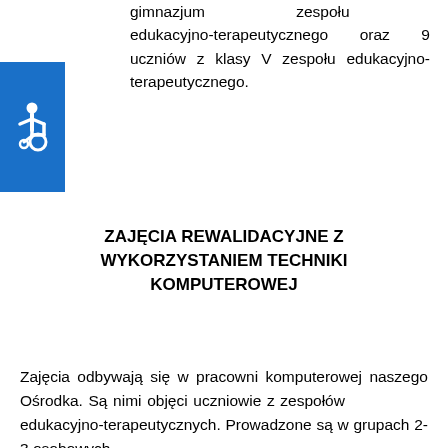gimnazjum zespołu edukacyjno-terapeutycznego oraz 9 uczniów z klasy V zespołu edukacyjno- terapeutycznego.
[Figure (illustration): Accessibility wheelchair icon — white wheelchair symbol on blue background square]
ZAJĘCIA REWALIDACYJNE Z WYKORZYSTANIEM TECHNIKI KOMPUTEROWEJ
Zajęcia odbywają się w pracowni komputerowej naszego Ośrodka. Są nimi objęci uczniowie z zespołów edukacyjno-terapeutycznych. Prowadzone są w grupach 2-3 osobowych.
W naszym ośrodku odbywaj się także zajęcia